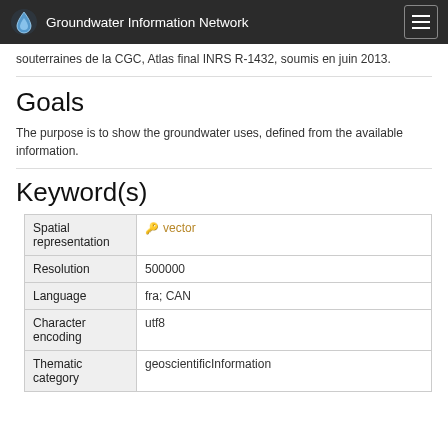Groundwater Information Network
souterraines de la CGC, Atlas final INRS R-1432, soumis en juin 2013.
Goals
The purpose is to show the groundwater uses, defined from the available information.
Keyword(s)
| Spatial representation | vector |
| Resolution | 500000 |
| Language | fra; CAN |
| Character encoding | utf8 |
| Thematic category | geoscientificInformation |